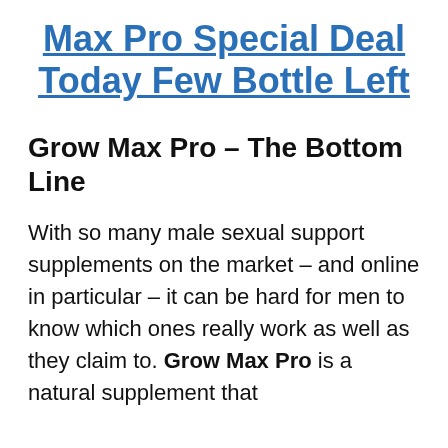Max Pro Special Deal Today Few Bottle Left
Grow Max Pro – The Bottom Line
With so many male sexual support supplements on the market – and online in particular – it can be hard for men to know which ones really work as well as they claim to. Grow Max Pro is a natural supplement that